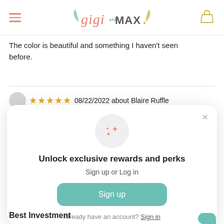Gigi and MAX — navigation header with logo, hamburger menu, and bag icon
The color is beautiful and something I haven't seen before.
★★★★★ 08/22/2022 about Blaire Ruffle
[Figure (screenshot): Modal popup with sparkle icon, title 'Unlock exclusive rewards and perks', subtitle 'Sign up or Log in', a teal 'Sign up' button, and footer text 'Already have an account? Sign in']
Best Investment